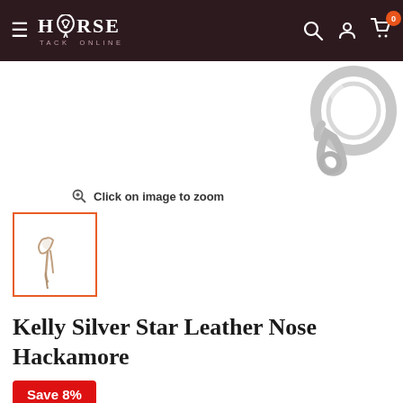Horse Tack Online — navigation bar with logo, search, account, and cart icons
[Figure (photo): Partial view of a silver metal hackamore bit/ring hardware against white background]
Click on image to zoom
[Figure (photo): Small thumbnail of a leather nose hackamore product with orange/red border]
Kelly Silver Star Leather Nose Hackamore
Save 8%